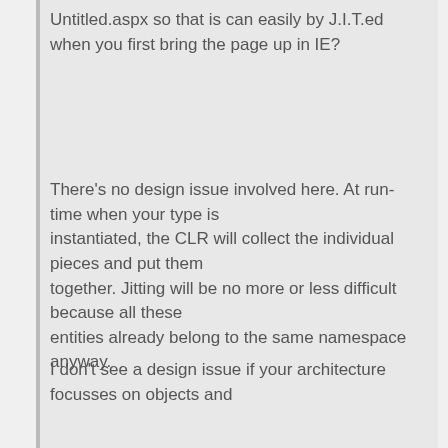Untitled.aspx so that is can easily by J.I.T.ed when you first bring the page up in IE?
There's no design issue involved here. At run-time when your type is instantiated, the CLR will collect the individual pieces and put them together. Jitting will be no more or less difficult because all these entities already belong to the same namespace anyway.
I don't see a design issue if your architecture focusses on objects and